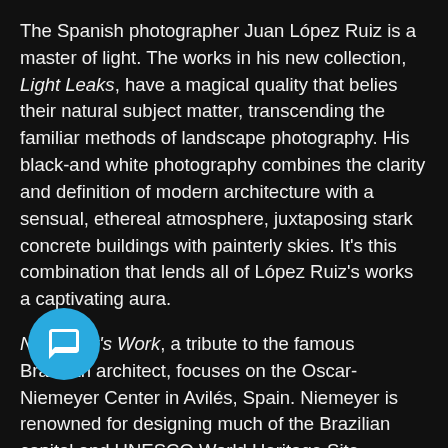The Spanish photographer Juan López Ruiz is a master of light. The works in his new collection, Light Leaks, have a magical quality that belies their natural subject matter, transcending the familiar methods of landscape photography. His black-and white photography combines the clarity and definition of modern architecture with a sensual, ethereal atmosphere, juxtaposing stark concrete buildings with painterly skies. It's this combination that lends all of López Ruiz's works a captivating aura.
Niemeyer's Work, a tribute to the famous Brazilian architect, focuses on the Oscar-Niemeyer Center in Avilés, Spain. Niemeyer is renowned for designing much of the Brazilian capital and UNESCO World Heritage Site, Brasilia. Through López Ruiz's lens, the unique building is shown in context with the surrounding space, heightening the striking effect of the architecture. The composition elegantly balances the clean lines and surfaces of Ni[chat icon]s legacy with the wide-open sky.
In Light and Dark on the Towers, López Ruiz captures the two tallest buildings in Madrid: The B&T Tower and the Torre C...